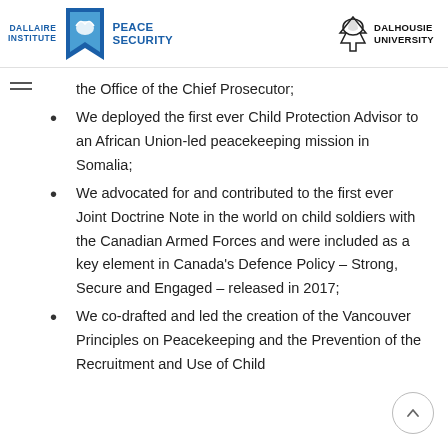DALLAIRE INSTITUTE | PEACE SECURITY | DALHOUSIE UNIVERSITY
the Office of the Chief Prosecutor;
We deployed the first ever Child Protection Advisor to an African Union-led peacekeeping mission in Somalia;
We advocated for and contributed to the first ever Joint Doctrine Note in the world on child soldiers with the Canadian Armed Forces and were included as a key element in Canada's Defence Policy – Strong, Secure and Engaged – released in 2017;
We co-drafted and led the creation of the Vancouver Principles on Peacekeeping and the Prevention of the Recruitment and Use of Child